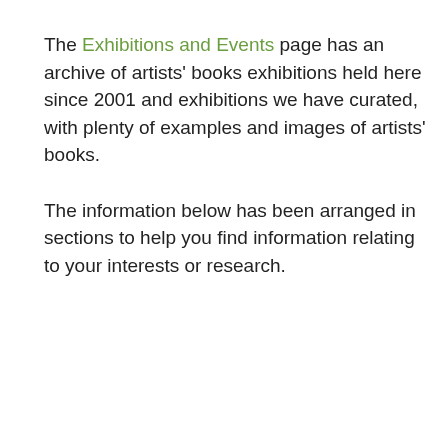for up-to-date news, Book Arts Newsletters and current projects and exhibitions.
The Exhibitions and Events page has an archive of artists' books exhibitions held here since 2001 and exhibitions we have curated, with plenty of examples and images of artists' books.
The information below has been arranged in sections to help you find information relating to your interests or research.